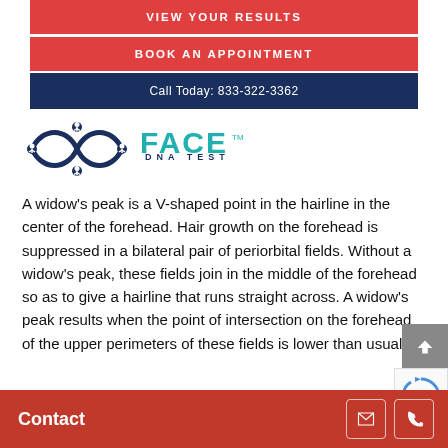VIEW YOUR RESULTS
BOOK AN APPOINTMENT
Call Today: 833-322-3362
[Figure (logo): Face DNA Test logo with DNA double helix icon and text FACE DNA TEST in navy and teal]
A widow's peak is a V-shaped point in the hairline in the center of the forehead. Hair growth on the forehead is suppressed in a bilateral pair of periorbital fields. Without a widow's peak, these fields join in the middle of the forehead so as to give a hairline that runs straight across. A widow's peak results when the point of intersection on the forehead of the upper perimeters of these fields is lower than usual.
Contact